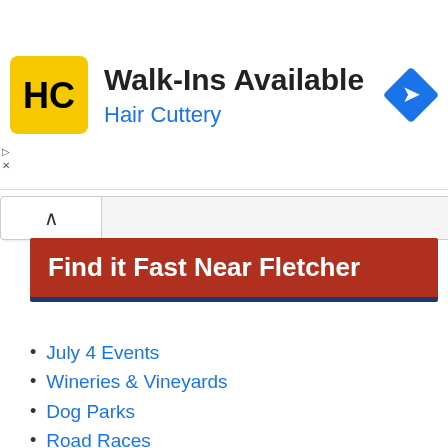[Figure (infographic): Hair Cuttery advertisement banner with yellow HC logo, 'Walk-Ins Available' headline, 'Hair Cuttery' subtitle in blue, and blue navigation diamond icon on the right]
Find it Fast Near Fletcher
July 4 Events
Wineries & Vineyards
Dog Parks
Road Races
Car Deals and Guide
EV Charging Stations
Museums
Nature Centers